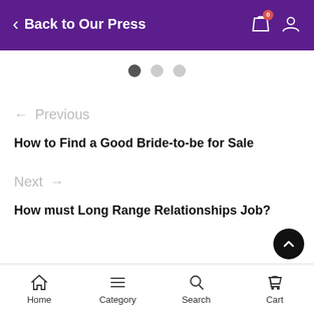Back to Our Press
[Figure (screenshot): Pagination dots — three circles, first dark/active, two light/inactive]
← Previous
How to Find a Good Bride-to-be for Sale
Next →
How must Long Range Relationships Job?
Home   Category   Search   Cart